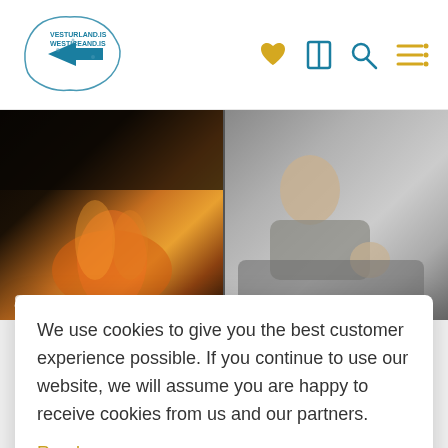[Figure (logo): Vesturland / WestIceland logo with map outline and arrow icon]
[Figure (photo): Two-panel photo: left shows fire/flames in dark setting, right shows person relaxing on sofa]
We use cookies to give you the best customer experience possible. If you continue to use our website, we will assume you are happy to receive cookies from us and our partners.
Read more
ACCEPT